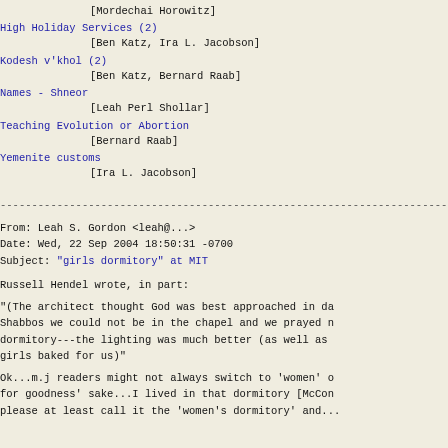[Mordechai Horowitz]
High Holiday Services (2)
            [Ben Katz, Ira L. Jacobson]
Kodesh v'khol (2)
            [Ben Katz, Bernard Raab]
Names - Shneor
            [Leah Perl Shollar]
Teaching Evolution or Abortion
            [Bernard Raab]
Yemenite customs
            [Ira L. Jacobson]
------------------------------------------------------------------------
From: Leah S. Gordon <leah@...>
Date: Wed, 22 Sep 2004 18:50:31 -0700
Subject: "girls dormitory" at MIT
Russell Hendel wrote, in part:
"(The architect thought God was best approached in da
Shabbos we could not be in the chapel and we prayed n
dormitory---the lighting was much better (as well as
girls baked for us)"
Ok...m.j readers might not always switch to 'women' o
for goodness' sake...I lived in that dormitory [McCon
please at least call it the 'women's dormitory' and...